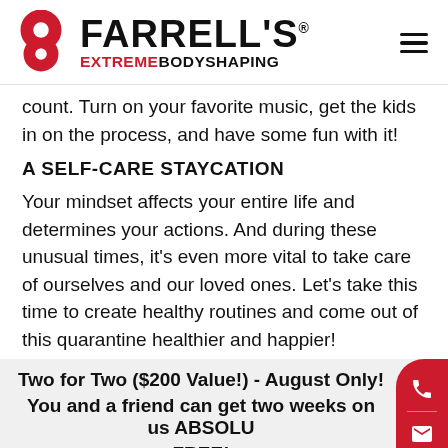[Figure (logo): Farrell's Extreme Bodyshaping logo with red figure-8 icon and bold text]
count. Turn on your favorite music, get the kids in on the process, and have some fun with it!
A SELF-CARE STAYCATION
Your mindset affects your entire life and determines your actions. And during these unusual times, it's even more vital to take care of ourselves and our loved ones. Let's take this time to create healthy routines and come out of this quarantine healthier and happier!
Two for Two ($200 Value!) - August Only!
You and a friend can get two weeks on us ABSOLUTELY FREE!
Call or Text 651-369-7272 Today!